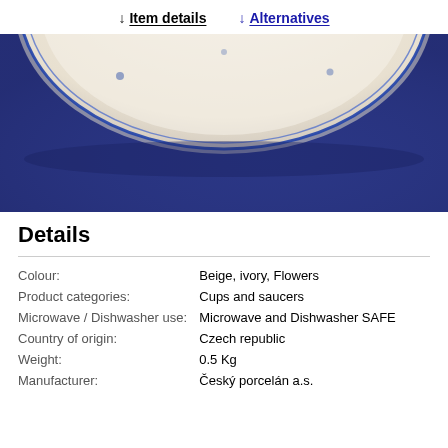↓ Item details  ↓ Alternatives
[Figure (photo): Close-up photo of a white porcelain plate with blue trim on a dark blue fabric background]
Details
| Colour: | Beige, ivory, Flowers |
| Product categories: | Cups and saucers |
| Microwave / Dishwasher use: | Microwave and Dishwasher SAFE |
| Country of origin: | Czech republic |
| Weight: | 0.5 Kg |
| Manufacturer: | Český porcelán a.s. |